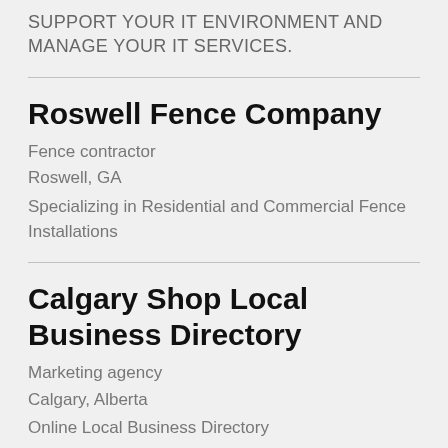SUPPORT YOUR IT ENVIRONMENT AND MANAGE YOUR IT SERVICES.
Roswell Fence Company
Fence contractor
Roswell, GA
Specializing in Residential and Commercial Fence Installations
Calgary Shop Local Business Directory
Marketing agency
Calgary, Alberta
Online Local Business Directory